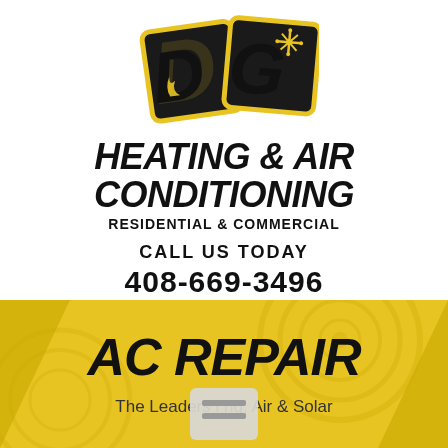[Figure (logo): DG Heating & Air Conditioning logo — black bold letters D and G with yellow border, flame symbol on D, snowflake symbol on G]
HEATING & AIR CONDITIONING
RESIDENTIAL & COMMERCIAL
CALL US TODAY
408-669-3496
[Figure (illustration): Golden/yellow background section with AC fan graphic, diagonal dark yellow triangles on sides, and a menu/hamburger icon overlay in center]
AC REPAIR
The Leaders in Heating, Air & Solar